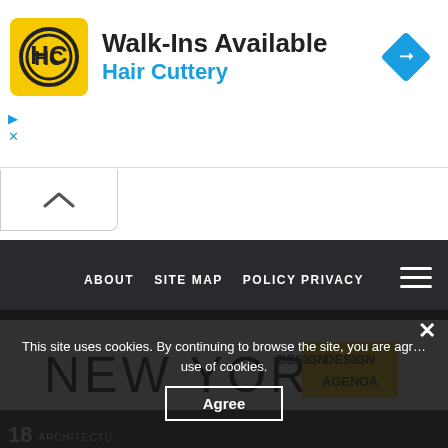[Figure (screenshot): Advertisement banner for Hair Cuttery showing logo, 'Walk-Ins Available' text, and blue navigation arrow icon]
[Figure (screenshot): Collapse/minimize chevron button below advertisement]
[Figure (screenshot): Dark navigation bar with hamburger menu icon]
ABOUT   SITE MAP   POLICY PRIVACY
[Figure (logo): NEW YORK DESIGN AGENDA logo with yellow background badge]
[Figure (photo): Architecture/interior photo with number 18 and ARCHITECTU label]
This site uses cookies. By continuing to browse the site, you are agreeing to our use of cookies.
Agree